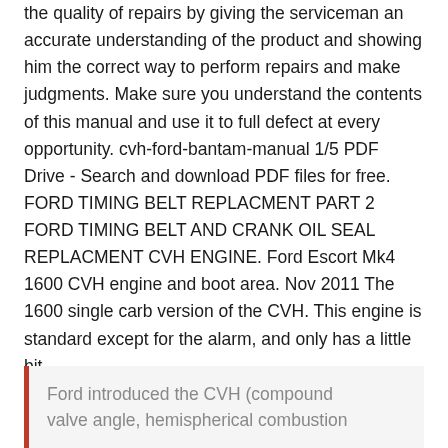the quality of repairs by giving the serviceman an accurate understanding of the product and showing him the correct way to perform repairs and make judgments. Make sure you understand the contents of this manual and use it to full defect at every opportunity. cvh-ford-bantam-manual 1/5 PDF Drive - Search and download PDF files for free. FORD TIMING BELT REPLACMENT PART 2 FORD TIMING BELT AND CRANK OIL SEAL REPLACMENT CVH ENGINE. Ford Escort Mk4 1600 CVH engine and boot area. Nov 2011 The 1600 single carb version of the CVH. This engine is standard except for the alarm, and only has a little bit
Ford introduced the CVH (compound valve angle, hemispherical combustion